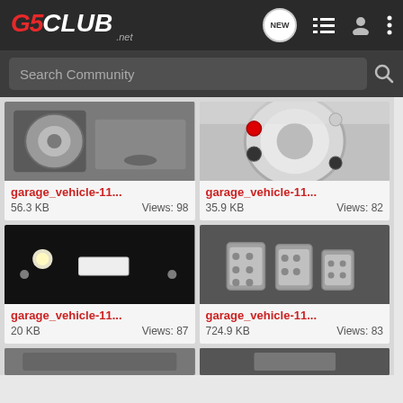G5CLUB.net - Search Community navigation bar
[Figure (screenshot): Mobile app screenshot of G5Club.net automotive community forum, showing a grid of garage vehicle images with filenames garage_vehicle-11... and metadata including file sizes and view counts]
garage_vehicle-11... 56.3 KB Views: 98
garage_vehicle-11... 35.9 KB Views: 82
garage_vehicle-11... 20 KB Views: 87
garage_vehicle-11... 724.9 KB Views: 83